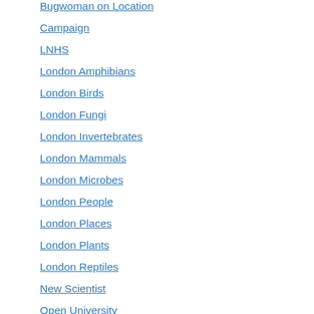Bugwoman on Location
Campaign
LNHS
London Amphibians
London Birds
London Fungi
London Invertebrates
London Mammals
London Microbes
London People
London Places
London Plants
London Reptiles
New Scientist
Open University
Personal
Quizzes
Uncategorized